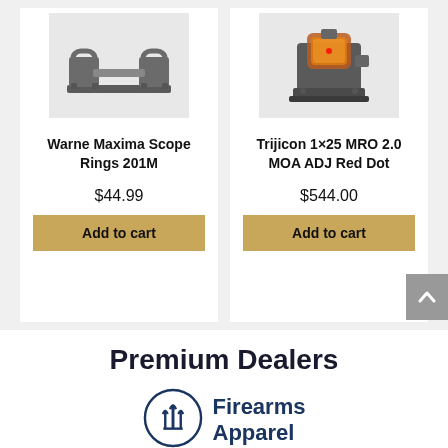[Figure (photo): Warne Maxima Scope Rings 201M product photo]
Warne Maxima Scope Rings 201M
$44.99
Add to cart
[Figure (photo): Trijicon 1×25 MRO 2.0 MOA ADJ Red Dot product photo]
Trijicon 1×25 MRO 2.0 MOA ADJ Red Dot
$544.00
Add to cart
Premium Dealers
[Figure (logo): Beretta-style trident logo circle]
Firearms Apparel